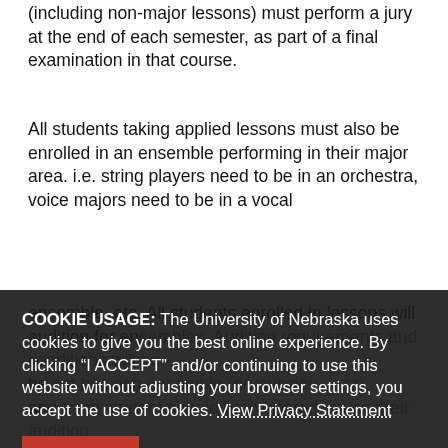All students taking private instruction in applied music (including non-major lessons) must perform a jury at the end of each semester, as part of a final examination in that course.
All students taking applied lessons must also be enrolled in an ensemble performing in their major area. i.e. string players need to be in an orchestra, voice majors need to be in a vocal ensemble, etc. All students enrolled in lessons will audition for ensembles. Audition requirements and conditions will be set by each ensemble director (percussion, jazz) and each student should be prepared to use their audition.
Studio Teachers: Assignment of students to disciplines with more than one faculty member is the responsibility of the Area Coordinator. Please contact the appropriate area coordinator to request a specific teacher. In general, students study with the same instructor from semester to semester. If a student desires a change of instructor, the first step is to discuss any concerns with the current teacher in person. If the issue is not resolved, the student should make an appointment to speak with the area coordinator, who will make
COOKIE USAGE: The University of Nebraska uses cookies to give you the best online experience. By clicking “I ACCEPT” and/or continuing to use this website without adjusting your browser settings, you accept the use of cookies. View Privacy Statement
I ACCEPT